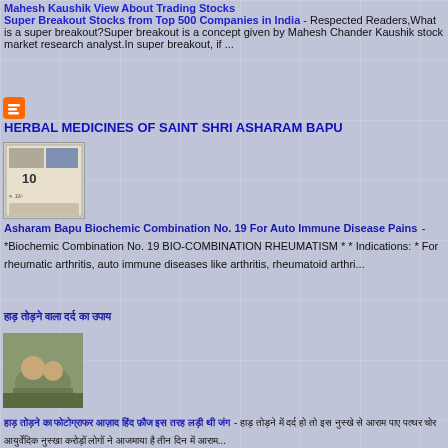Mahesh Kaushik View About Trading Stocks
Super Breakout Stocks from Top 500 Companies in India - Respected Readers,What is a super breakout?Super breakout is a concept given by Mahesh Chander Kaushik stock market research analyst.In super breakout, if ...
[Figure (logo): Blogger orange icon]
HERBAL MEDICINES OF SAINT SHRI ASHARAM BAPU
[Figure (photo): Book cover image with Hindi text and the number 10, Rs. 10]
Asharam Bapu Biochemic Combination No. 19 For Auto Immune Disease Pains - *Biochemic Combination No. 19 BIO-COMBINATION RHEUMATISM * * Indications: * For rheumatic arthritis, auto immune diseases like arthritis, rheumatoid arthri...
हाड़ तोड़ने वाला दर्द का उपाय
[Figure (photo): Photo of people on a street scene, possibly a roadside]
हाड़ तोड़ने का फोटोग्राफर आज़ाद हिंद फ़ौज इस तरह लड़ी थी जंग - हाड़ तोड़ने में दर्द हो तो इस नुस्खे से आराम पाए पत्थर चोर आयुर्वेदिक नुस्खा करोड़ों लोगों ने आजमाया है तीन दिन में आराम...